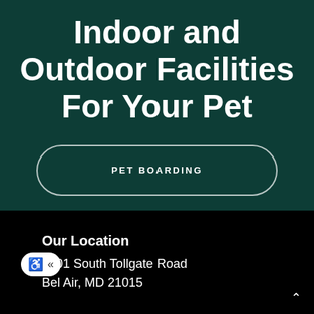Indoor and Outdoor Facilities For Your Pet
PET BOARDING
Our Location
1501 South Tollgate Road
Bel Air, MD 21015